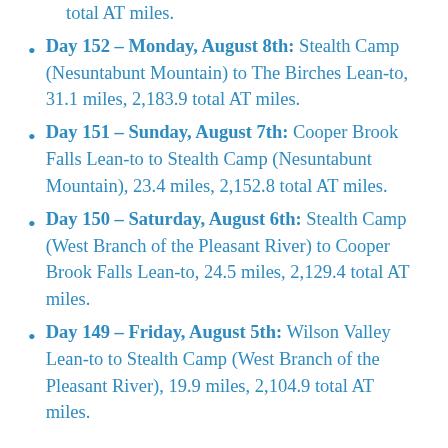total AT miles.
Day 152 – Monday, August 8th: Stealth Camp (Nesuntabunt Mountain) to The Birches Lean-to, 31.1 miles, 2,183.9 total AT miles.
Day 151 – Sunday, August 7th: Cooper Brook Falls Lean-to to Stealth Camp (Nesuntabunt Mountain), 23.4 miles, 2,152.8 total AT miles.
Day 150 – Saturday, August 6th: Stealth Camp (West Branch of the Pleasant River) to Cooper Brook Falls Lean-to, 24.5 miles, 2,129.4 total AT miles.
Day 149 – Friday, August 5th: Wilson Valley Lean-to to Stealth Camp (West Branch of the Pleasant River), 19.9 miles, 2,104.9 total AT miles.